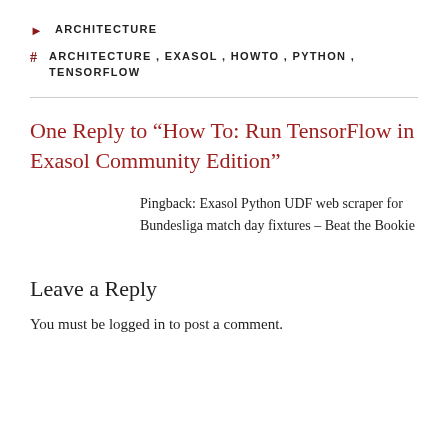🏷 ARCHITECTURE
# ARCHITECTURE, EXASOL, HOWTO, PYTHON, TENSORFLOW
One Reply to “How To: Run TensorFlow in Exasol Community Edition”
Pingback: Exasol Python UDF web scraper for Bundesliga match day fixtures – Beat the Bookie
Leave a Reply
You must be logged in to post a comment.